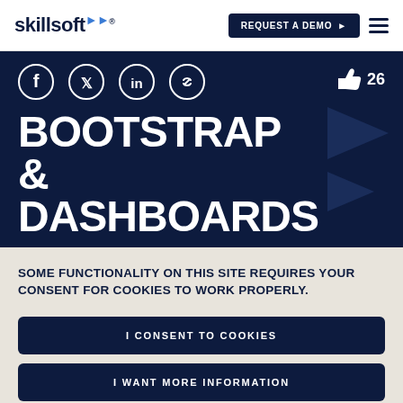skillsoft® | REQUEST A DEMO ▶ ≡
[Figure (screenshot): Dark navy banner with social media icons (Facebook, Twitter, LinkedIn, Link), like button with count 26, and two play button triangles on the right side.]
BOOTSTRAP & DASHBOARDS
SOME FUNCTIONALITY ON THIS SITE REQUIRES YOUR CONSENT FOR COOKIES TO WORK PROPERLY.
I CONSENT TO COOKIES
I WANT MORE INFORMATION